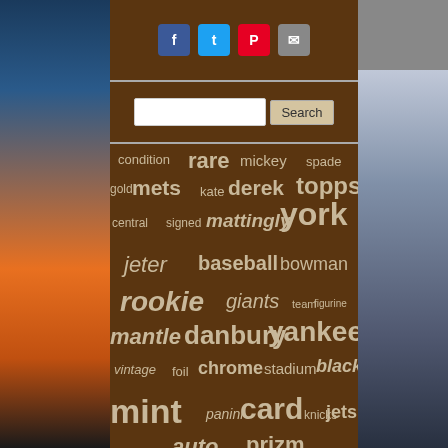[Figure (screenshot): Website screenshot showing social share buttons (Facebook, Twitter, Pinterest, Email), a search bar, and a word cloud with New York sports/collectibles terms on a brown background]
condition rare mickey spade gold mets kate derek topps central signed mattingly york jeter baseball bowman rookie giants team figurine mantle danbury yankees vintage foil chrome stadium black mint panini card knicks jets auto prizm